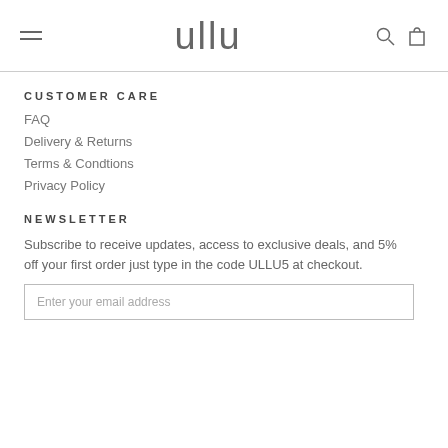ullu
CUSTOMER CARE
FAQ
Delivery & Returns
Terms & Condtions
Privacy Policy
NEWSLETTER
Subscribe to receive updates, access to exclusive deals, and 5% off your first order just type in the code ULLU5 at checkout.
Enter your email address